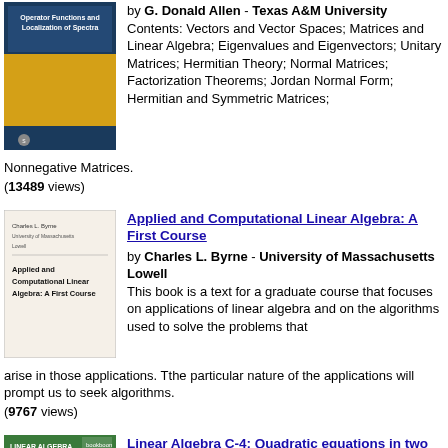by G. Donald Allen - Texas A&M University Contents: Vectors and Vector Spaces; Matrices and Linear Algebra; Eigenvalues and Eigenvectors; Unitary Matrices; Hermitian Theory; Normal Matrices; Factorization Theorems; Jordan Normal Form; Hermitian and Symmetric Matrices; Nonnegative Matrices. (13489 views)
Applied and Computational Linear Algebra: A First Course
by Charles L. Byrne - University of Massachusetts Lowell This book is a text for a graduate course that focuses on applications of linear algebra and on the algorithms used to solve the problems that arise in those applications. Tthe particular nature of the applications will prompt us to seek algorithms. (9767 views)
Linear Algebra C-4: Quadratic equations in two or three variables